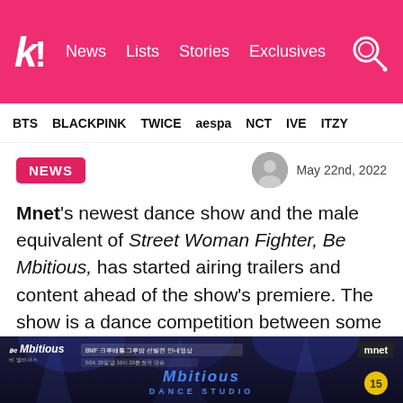k! News Lists Stories Exclusives
BTS BLACKPINK TWICE aespa NCT IVE ITZY
NEWS  May 22nd, 2022
Mnet's newest dance show and the male equivalent of Street Woman Fighter, Be Mbitious, has started airing trailers and content ahead of the show's premiere. The show is a dance competition between some of the best dancers in Korea fighting for a chance to form their own crew and compete on Street Man Fighter.
[Figure (screenshot): Screenshot of Be Mbitious / Mbitious Dance Studio promotional video with Mnet logo and age rating 15 badge in the top right corner]